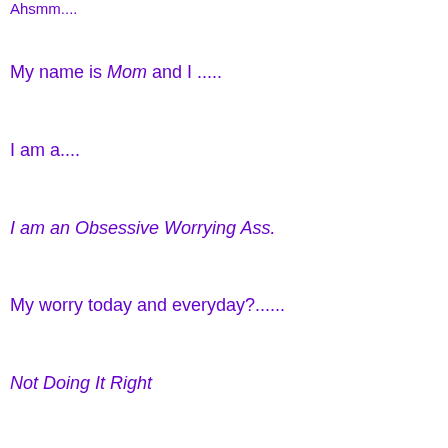Ahsmm...
My name is Mom and I .....
I am a....
I am an Obsessive Worrying Ass.
My worry today and everyday?......
Not Doing It Right